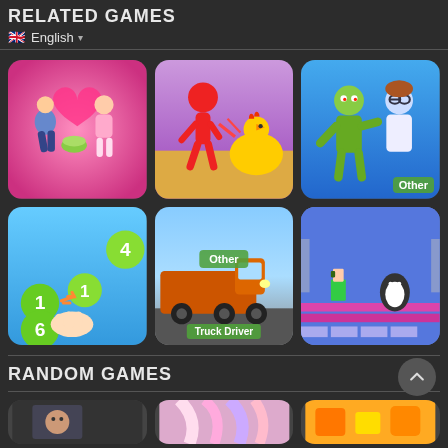RELATED GAMES
🇬🇧 English ▾
[Figure (screenshot): Game thumbnail: couple romantic scene with pink heart background]
[Figure (screenshot): Game thumbnail: red stick figure running from yellow chicken]
[Figure (screenshot): Game thumbnail: zombie and doctor character, labeled 'Other']
[Figure (screenshot): Game thumbnail: number puzzle game with green bubbles showing 1,4,1,6]
[Figure (screenshot): Game thumbnail: orange truck, labeled 'Other' and 'Truck Driver']
[Figure (screenshot): Game thumbnail: pixel art platformer game with characters]
RANDOM GAMES
[Figure (screenshot): Partial game thumbnail: dark real-person scene]
[Figure (screenshot): Partial game thumbnail: colorful anime hair]
[Figure (screenshot): Partial game thumbnail: orange/yellow game elements]